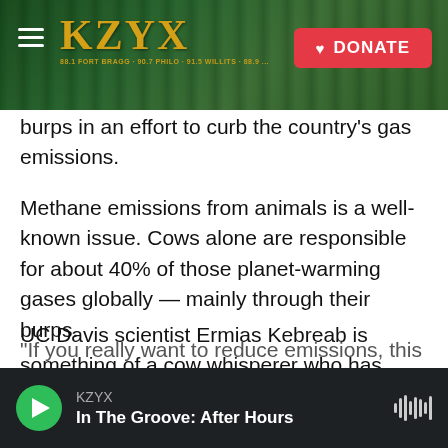[Figure (screenshot): KZYX radio station website header with green forest background. Left side shows hamburger menu icon and KZYX logo in gold text. Right side shows red DONATE button with heart icon.]
burps in an effort to curb the country's gas emissions.
Methane emissions from animals is a well-known issue. Cows alone are responsible for about 40% of those planet-warming gases globally — mainly through their burps.
UC Davis scientist Ermias Kebreab is something of a cow whisperer who has spent two decades studying the greenhouse gas contributions of hoofed animals.
KZYX · In The Groove: After Hours